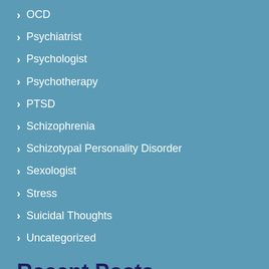OCD
Psychiatrist
Psychologist
Psychotherapy
PTSD
Schizophrenia
Schizotypal Personality Disorder
Sexologist
Stress
Suicidal Thoughts
Uncategorized
Recent Posts
How Important Is It To Consult A Child Psychologist In